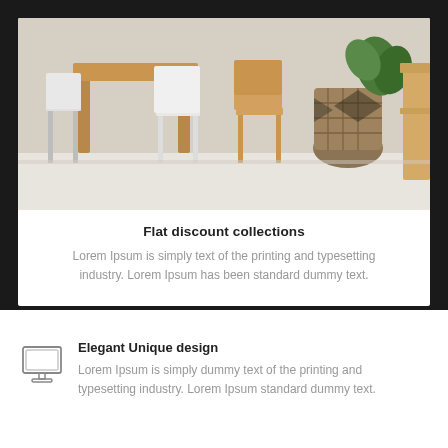[Figure (photo): Photo of wooden chairs and tables with a basket/plant in the background on a light floor]
Flat discount collections
Lorem Ipsum is simply text of the printing and typesetting industry. Lorem Ipsum has been standard dummy text.
[Figure (illustration): Monitor/screen icon (line drawing)]
Elegant Unique design
Lorem Ipsum is simply dummy text of the printing and typesetting industry. Lorem Ipsum standard dummy text.